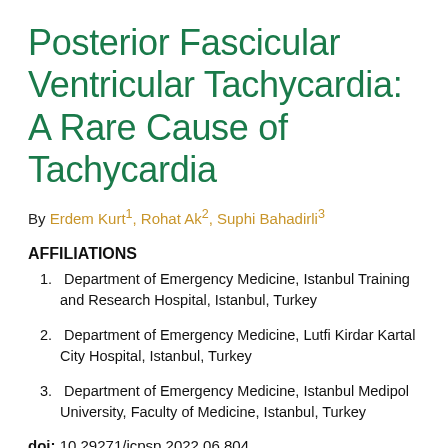Posterior Fascicular Ventricular Tachycardia: A Rare Cause of Tachycardia
By Erdem Kurt1, Rohat Ak2, Suphi Bahadirli3
AFFILIATIONS
1. Department of Emergency Medicine, Istanbul Training and Research Hospital, Istanbul, Turkey
2. Department of Emergency Medicine, Lutfi Kirdar Kartal City Hospital, Istanbul, Turkey
3. Department of Emergency Medicine, Istanbul Medipol University, Faculty of Medicine, Istanbul, Turkey
doi: 10.29271/jcpsp.2022.06.804
[Figure (other): Row of five social media sharing icons: Facebook (blue), Twitter (light blue), Pinterest (red), LinkedIn (blue), Share/print (grey)]